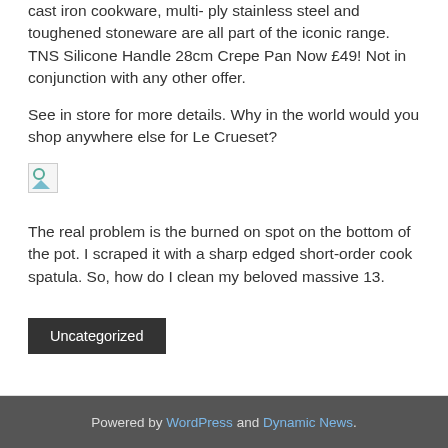cast iron cookware, multi- ply stainless steel and toughened stoneware are all part of the iconic range. TNS Silicone Handle 28cm Crepe Pan Now £49! Not in conjunction with any other offer.
See in store for more details. Why in the world would you shop anywhere else for Le Crueset?
[Figure (photo): Broken/missing image placeholder icon]
The real problem is the burned on spot on the bottom of the pot. I scraped it with a sharp edged short-order cook spatula. So, how do I clean my beloved massive 13.
Uncategorized
Powered by WordPress and Dynamic News.